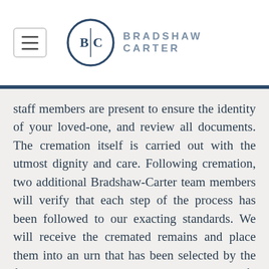[Figure (logo): Bradshaw Carter logo: circular emblem with B|C monogram, dark navy border, with BRADSHAW CARTER text to the right]
staff members are present to ensure the identity of your loved-one, and review all documents. The cremation itself is carried out with the utmost dignity and care. Following cremation, two additional Bradshaw-Carter team members will verify that each step of the process has been followed to our exacting standards. We will receive the cremated remains and place them into an urn that has been selected by the family. Once the cremated remains are left, there are several options a family has in the final disposition of the remains, including: